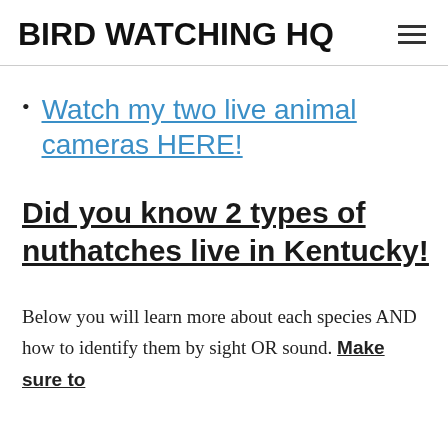BIRD WATCHING HQ
Watch my two live animal cameras HERE!
Did you know 2 types of nuthatches live in Kentucky!
Below you will learn more about each species AND how to identify them by sight OR sound. Make sure to